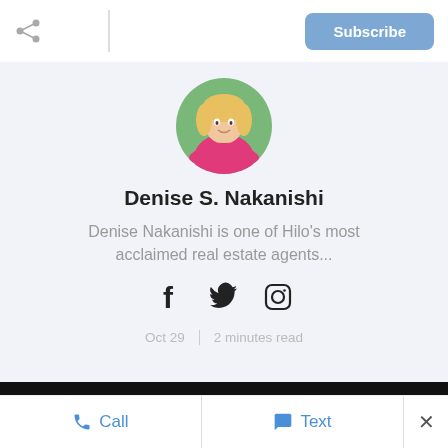[Figure (photo): Profile photo of Denise S. Nakanishi, a woman in a pink top, displayed in a circular crop]
Denise S. Nakanishi
Denise Nakanishi is one of Hilo's most acclaimed real estate agents...
[Figure (other): Social media icons: Facebook, Twitter, Instagram]
Oct 29  |  2 minutes read
We use cookies to enhance your browsing experience and deliver our services. By continuing to visit this site, you agree to our use of cookies. More info